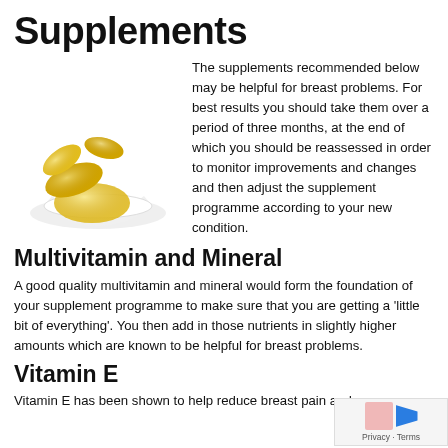Supplements
[Figure (photo): Gold/yellow supplement capsules/gel caps piled on a white ceramic spoon against a white background]
The supplements recommended below may be helpful for breast problems. For best results you should take them over a period of three months, at the end of which you should be reassessed in order to monitor improvements and changes and then adjust the supplement programme according to your new condition.
Multivitamin and Mineral
A good quality multivitamin and mineral would form the foundation of your supplement programme to make sure that you are getting a 'little bit of everything'. You then add in those nutrients in slightly higher amounts which are known to be helpful for breast problems.
Vitamin E
Vitamin E has been shown to help reduce breast pain and